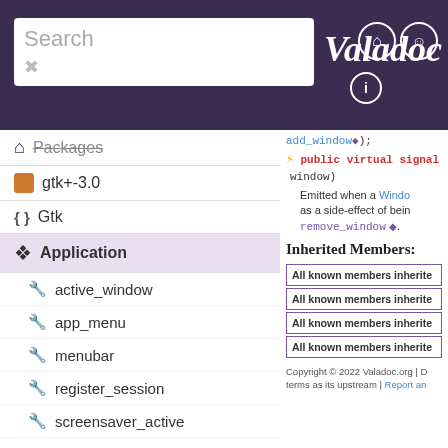Valadoc
Packages
gtk+-3.0
Gtk
Application
active_window
app_menu
menubar
register_session
screensaver_active
Application
add_accelerator
add_window();  public virtual signal (window) Emitted when a Window is added as a side-effect of being remove_window.
Inherited Members:
All known members inherited
All known members inherited
All known members inherited
All known members inherited
Copyright © 2022 Valadoc.org | D... terms as its upstream | Report an...